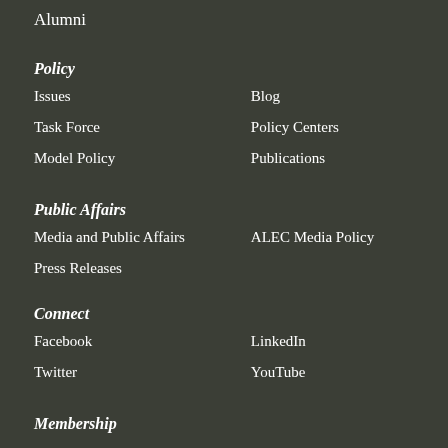Alumni
Policy
Issues
Blog
Task Force
Policy Centers
Model Policy
Publications
Public Affairs
Media and Public Affairs
ALEC Media Policy
Press Releases
Connect
Facebook
LinkedIn
Twitter
YouTube
Membership